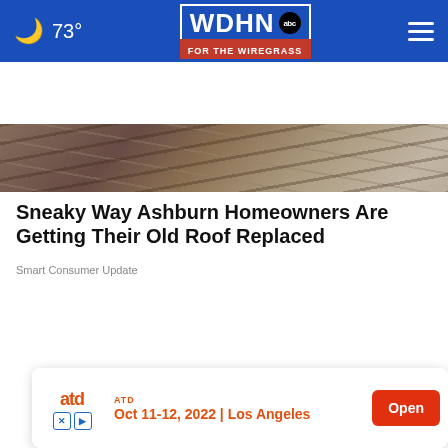73° WDHN abc FOR THE WIREGRASS
[Figure (photo): Roof debris and shingles scattered, aerial view of old broken roofing material]
Sneaky Way Ashburn Homeowners Are Getting Their Old Roof Replaced
Smart Consumer Update
[Figure (photo): A door knob wrapped in aluminum foil against a brown wooden door]
ATD Oct 11-12, 2022 | Los Angeles Open